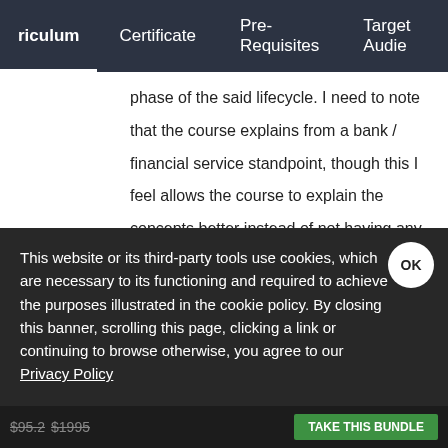riculum  Certificate  Pre-Requisites  Target Audie
phase of the said lifecycle. I need to note that the course explains from a bank / financial service standpoint, though this I feel allows the course to explain the concepts better instead of not having any examples at all.
Linked
Acee Vitangcol
This website or its third-party tools use cookies, which are necessary to its functioning and required to achieve the purposes illustrated in the cookie policy. By closing this banner, scrolling this page, clicking a link or continuing to browse otherwise, you agree to our Privacy Policy